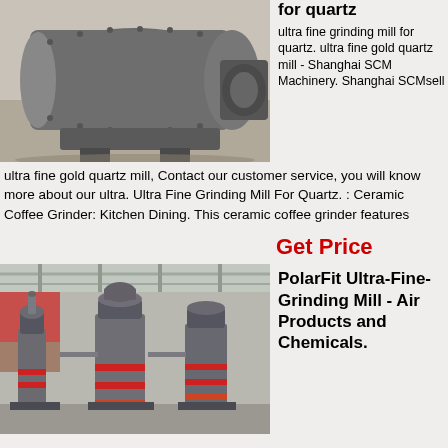[Figure (photo): Industrial ball mill machine, large grey cylindrical grinding mill with motor assembly, photographed in a factory setting.]
for quartz
ultra fine grinding mill for quartz. ultra fine gold quartz mill - Shanghai SCM Machinery. Shanghai SCMsell
ultra fine gold quartz mill, Contact our customer service, you will know more about our ultra. Ultra Fine Grinding Mill For Quartz. : Ceramic Coffee Grinder: Kitchen Dining. This ceramic coffee grinder features
Get Price
[Figure (photo): Industrial ultra-fine grinding mills in a large factory warehouse, multiple vertical mill machines with red accent components on a concrete floor.]
PolarFit Ultra-Fine-Grinding Mill - Air Products and Chemicals.